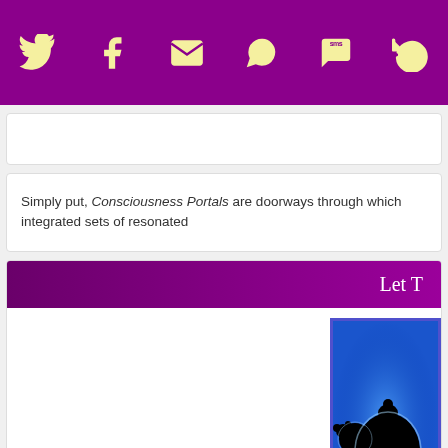Social share bar with icons: Twitter, Facebook, Email, WhatsApp, SMS, other
Simply put, Consciousness Portals are doorways through which integrated sets of resonated
Let T
[Figure (illustration): Mandelbrot fractal set image with black center and blue glowing edges on blue background]